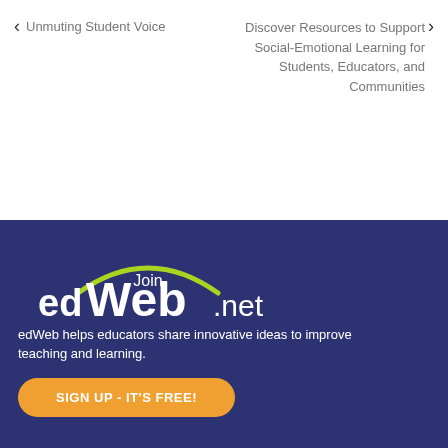← Unmuting Student Voice
Discover Resources to Support Social-Emotional Learning for Students, Educators, and Communities →
[Figure (logo): Join edWeb.net logo — green arc over 'edWeb.net' text in white on dark blue background]
edWeb helps educators share innovative ideas to improve teaching and learning.
SIGN UP - IT'S FREE!